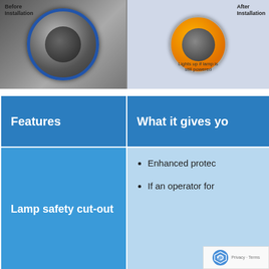[Figure (photo): Two installation photos side by side. Left labeled 'Before Installation' showing a lens/connector component. Right labeled 'After Installation' showing an orange ring indicator installed with a caption 'Lights up if lamp is still powered'.]
| Features | What it gives yo… |
| --- | --- |
| Lamp safety cut-out | • Enhanced protec…
• If an operator for… |
| Clear glow indicator | • Lamp on Inc… |